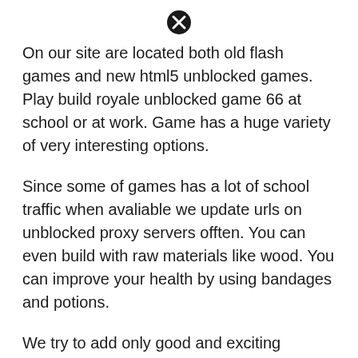[Figure (other): Close/X button icon circle]
On our site are located both old flash games and new html5 unblocked games. Play build royale unblocked game 66 at school or at work. Game has a huge variety of very interesting options.
Since some of games has a lot of school traffic when avaliable we update urls on unblocked proxy servers offten. You can even build with raw materials like wood. You can improve your health by using bandages and potions.
We try to add only good and exciting games. Break shiny boxes to get loot. Here you can see the site's status and changelog.
[Figure (other): Close/X button icon circle]
You can jump with the space key. Unblocked 66